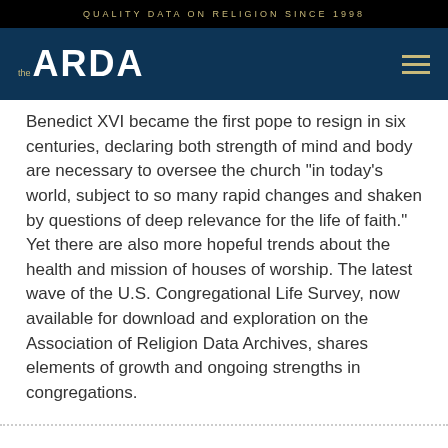QUALITY DATA ON RELIGION SINCE 1998
[Figure (logo): The ARDA logo — 'the' in gold, 'ARDA' in white bold letters on dark navy background, with hamburger menu icon on right]
Benedict XVI became the first pope to resign in six centuries, declaring both strength of mind and body are necessary to oversee the church "in today's world, subject to so many rapid changes and shaken by questions of deep relevance for the life of faith." Yet there are also more hopeful trends about the health and mission of houses of worship. The latest wave of the U.S. Congregational Life Survey, now available for download and exploration on the Association of Religion Data Archives, shares elements of growth and ongoing strengths in congregations.